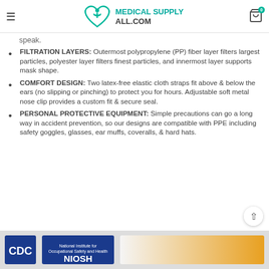Medical Supply All.com — navigation header with logo and cart
speak.
FILTRATION LAYERS: Outermost polypropylene (PP) fiber layer filters largest particles, polyester layer filters finest particles, and innermost layer supports mask shape.
COMFORT DESIGN: Two latex-free elastic cloth straps fit above & below the ears (no slipping or pinching) to protect you for hours. Adjustable soft metal nose clip provides a custom fit & secure seal.
PERSONAL PROTECTIVE EQUIPMENT: Simple precautions can go a long way in accident prevention, so our designs are compatible with PPE including safety goggles, glasses, ear muffs, coveralls, & hard hats.
[Figure (logo): CDC and NIOSH logos at bottom of page]